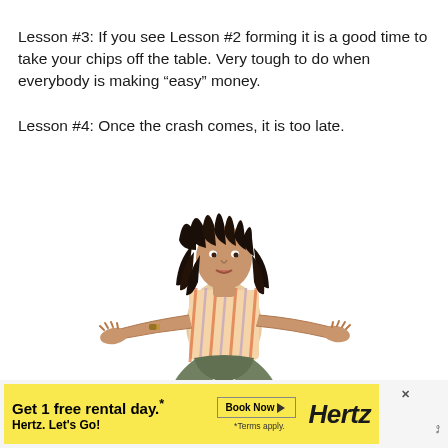Lesson #3:  If you see Lesson #2 forming it is a good time to take your chips off the table.  Very tough to do when everybody is making “easy” money.
Lesson #4:  Once the crash comes, it is too late.
[Figure (photo): A person with dreadlocks sitting cross-legged on the floor with arms outstretched and palms open, wearing a striped shirt and gray pants, on a white background.]
[Figure (other): Hertz advertisement banner: 'Get 1 free rental day.* Hertz. Let’s Go!' with Book Now button and Hertz logo on yellow background.]